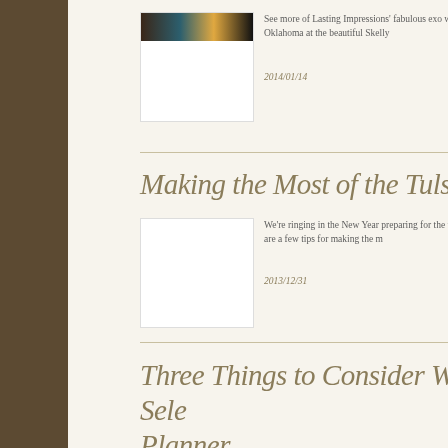[Figure (photo): Small thumbnail image with colorful abstract/photo content in dark and teal tones]
See more of Lasting Impressions' fabulous exo with Brides of Oklahoma at the beautiful Skelly
2014/01/14
Making the Most of the Tulsa Wed
[Figure (photo): Blank white placeholder image]
We're ringing in the New Year preparing for the to attend? Here are a few tips for making the m
2013/12/31
Three Things to Consider When Sele Planner